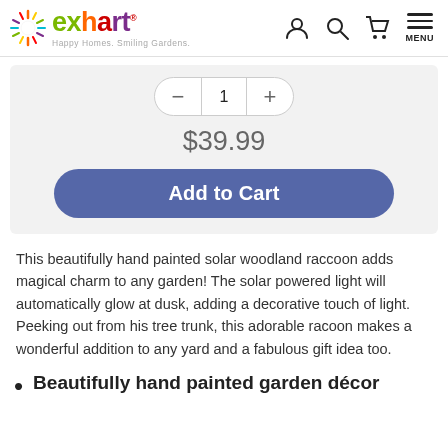exhart — Happy Homes. Smiling Gardens. [navigation with account, search, cart, menu icons]
$39.99
Add to Cart
This beautifully hand painted solar woodland raccoon adds magical charm to any garden! The solar powered light will automatically glow at dusk, adding a decorative touch of light. Peeking out from his tree trunk, this adorable racoon makes a wonderful addition to any yard and a fabulous gift idea too.
Beautifully hand painted garden décor